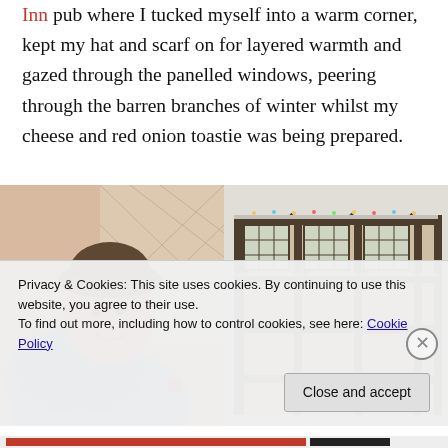Inn pub where I tucked myself into a warm corner, kept my hat and scarf on for layered warmth and gazed through the panelled windows, peering through the barren branches of winter whilst my cheese and red onion toastie was being prepared.
[Figure (photo): Two side-by-side photos: left shows a smiling woman wearing a dark hat and blue scarf in front of a leaded glass window; right shows the exterior of a timber-framed building with snow or frost.]
Privacy & Cookies: This site uses cookies. By continuing to use this website, you agree to their use.
To find out more, including how to control cookies, see here: Cookie Policy